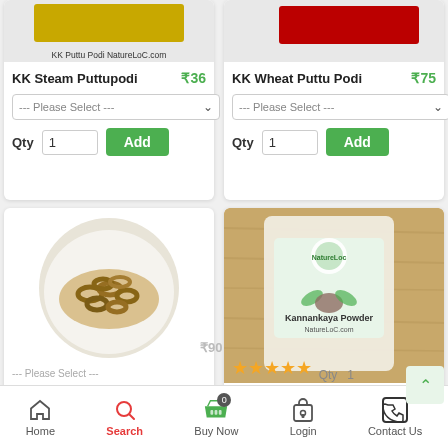[Figure (photo): KK Steam Puttupodi product image with yellow label, caption KK Puttu Podi NatureLoC.com]
KK Steam Puttupodi ₹36
--- Please Select ---
Qty 1 Add
[Figure (photo): KK Wheat Puttu Podi product image with red label]
KK Wheat Puttu Podi ₹75
--- Please Select ---
Qty 1 Add
[Figure (photo): Bitter Gourd Dried (Pavakka Kondattom) in white bowl on white background]
Bitter Gourd Dried (Pavakka Kondattom)
[Figure (photo): Kannankaya Powder bag product photo on wooden surface with 4 star rating]
Kannankaya Powder ₹165
--- Please Select ---
Home  Search  Buy Now  0  Qty  1  Login  Contact Us